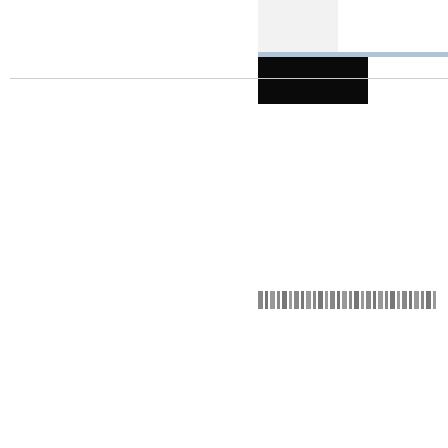[Figure (other): Header graphic with light gray block on left and black block on right, with a light blue horizontal rule beneath]
[Figure (other): Barcode or sequential bar pattern in the lower right area of the page]